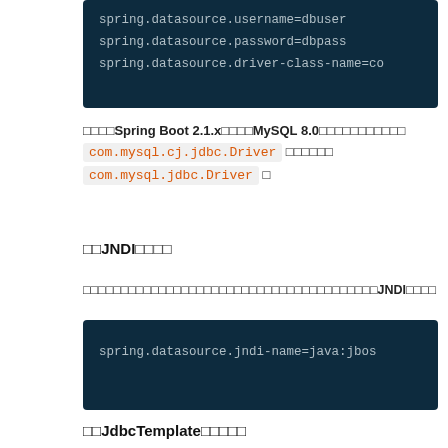[Figure (screenshot): Dark navy code block showing spring.datasource.username=dbuser, spring.datasource.password=dbpass, spring.datasource.driver-class-name=co (truncated)]
如果使用Spring Boot 2.1.x集成MySQL 8.0时候，需要把驱动 com.mysql.cj.jdbc.Driver 替换成 com.mysql.jdbc.Driver 。
使用JNDI数据源
如果应用部署于应用服务器中，你可能想让应用服务器来管理那些连接，使用JNDI获取数据源。
[Figure (screenshot): Dark navy code block showing: spring.datasource.jndi-name=java:jbos (truncated)]
使用JdbcTemplate操作数据库